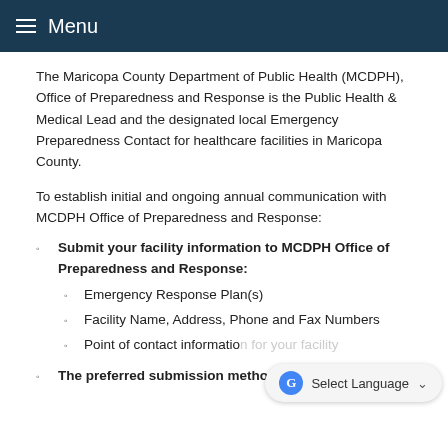Menu
The Maricopa County Department of Public Health (MCDPH), Office of Preparedness and Response is the Public Health & Medical Lead and the designated local Emergency Preparedness Contact for healthcare facilities in Maricopa County.
To establish initial and ongoing annual communication with MCDPH Office of Preparedness and Response:
Submit your facility information to MCDPH Office of Preparedness and Response:
Emergency Response Plan(s)
Facility Name, Address, Phone and Fax Numbers
Point of contact information for your facility
The preferred submission method is electronic;